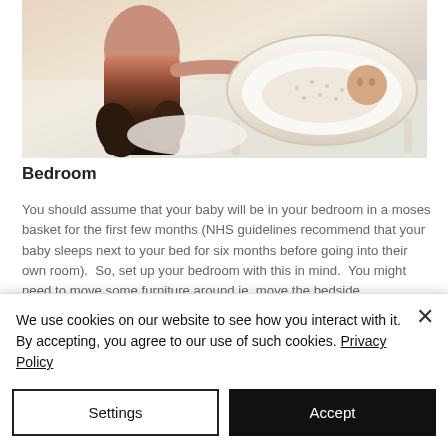[Figure (photo): A person sitting on a bed next to a baby lying in a white bassinet/moses basket. The adult appears to be tending to or looking at the newborn baby wrapped in a patterned swaddle.]
Bedroom
You should assume that your baby will be in your bedroom in a moses basket for the first few months (NHS guidelines recommend that your baby sleeps next to your bed for six months before going into their own room).  So, set up your bedroom with this in mind.  You might need to move some furniture around ie. move the bedside
We use cookies on our website to see how you interact with it. By accepting, you agree to our use of such cookies. Privacy Policy
Settings
Accept